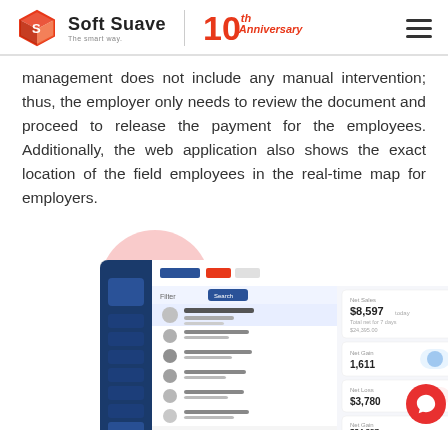Soft Suave — The smart way. | 10th Anniversary
management does not include any manual intervention; thus, the employer only needs to review the document and proceed to release the payment for the employees. Additionally, the web application also shows the exact location of the field employees in the real-time map for employers.
[Figure (screenshot): Dashboard screenshot of a field employee management web application showing payroll and employee location data with bar charts and employee list]